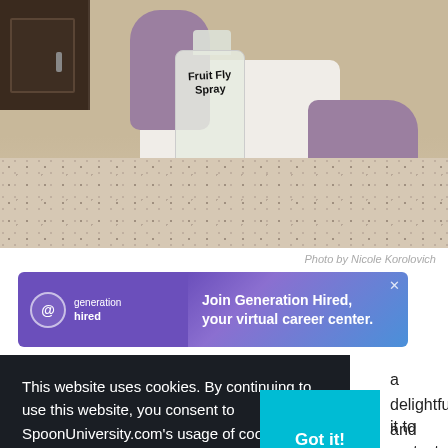[Figure (photo): Person wearing purple rubber gloves holding a spray bottle labeled 'Fruit Fly Spray' on a speckled granite kitchen counter, with dark wood cabinets in the background.]
Photo by Nicole Korolovich
[Figure (other): Advertisement banner for Generation Hired: 'Join Generation Hired, your virtual career center.' with purple-to-blue gradient background and Generation Hired logo on left.]
This website uses cookies. By continuing to use this website, you consent to SpoonUniversity.com's usage of cookies and similar technologies Learn more
a delightful and it to protect